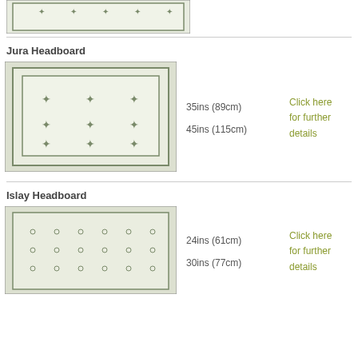[Figure (illustration): Top portion of a headboard product illustration (cropped at top)]
Jura Headboard
[Figure (illustration): Jura Headboard product illustration showing a tufted headboard with diamond pattern in green/cream tones]
35ins (89cm)
45ins (115cm)
Click here for further details
Islay Headboard
[Figure (illustration): Islay Headboard product illustration showing a buttoned headboard with rows of buttons in green/cream tones]
24ins (61cm)
30ins (77cm)
Click here for further details